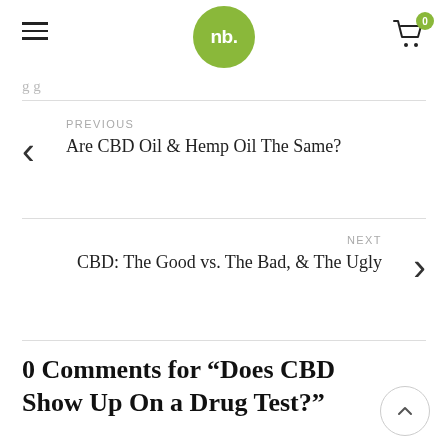nb. - logo with hamburger menu and cart icon (0)
g g
PREVIOUS
Are CBD Oil & Hemp Oil The Same?
NEXT
CBD: The Good vs. The Bad, & The Ugly
0 Comments for “Does CBD Show Up On a Drug Test?”